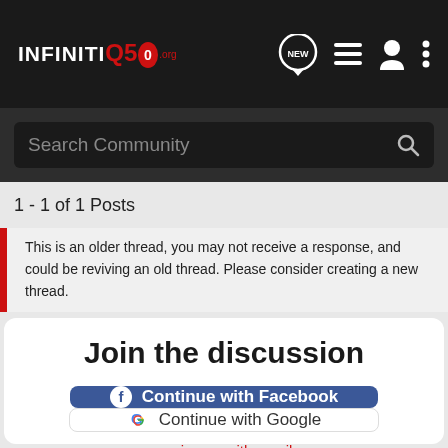INFINITI Q50 .org — NEW — menu icons
Search Community
1 - 1 of 1 Posts
This is an older thread, you may not receive a response, and could be reviving an old thread. Please consider creating a new thread.
Join the discussion
Continue with Facebook
Continue with Google
or sign up with email